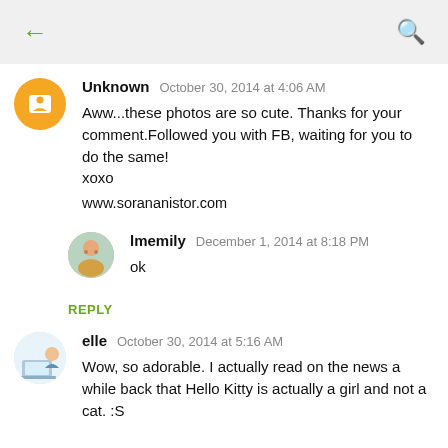← (back) | (search icon)
Unknown   October 30, 2014 at 4:06 AM
Aww...these photos are so cute. Thanks for your comment.Followed you with FB, waiting for you to do the same!
xoxo

www.sorananistor.com
lmemily   December 1, 2014 at 8:18 PM
ok
REPLY
elle   October 30, 2014 at 5:16 AM
Wow, so adorable. I actually read on the news a while back that Hello Kitty is actually a girl and not a cat. :S